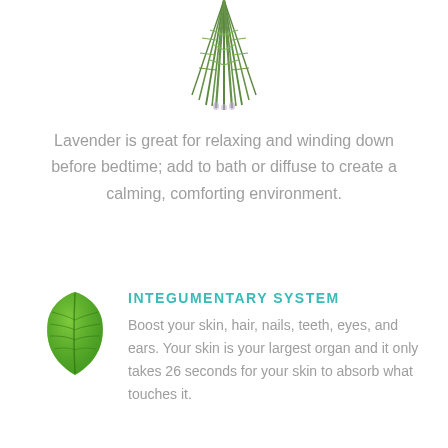[Figure (photo): Bundle of rosemary/lavender herb sprigs viewed from above, green needles, partially cut off at top of page]
Lavender is great for relaxing and winding down before bedtime; add to bath or diffuse to create a calming, comforting environment.
[Figure (illustration): Single green leaf illustration]
INTEGUMENTARY SYSTEM
Boost your skin, hair, nails, teeth, eyes, and ears. Your skin is your largest organ and it only takes 26 seconds for your skin to absorb what touches it.